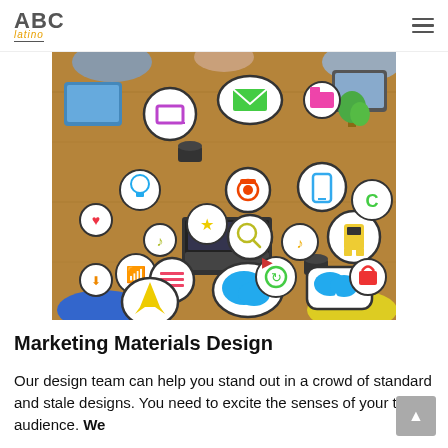ABC latino (logo) | hamburger menu
[Figure (photo): Overhead view of people sitting around a wooden table with a laptop, tablets, and speech/thought bubbles containing colorful social media and communication icons (email, laptop, camera, chat bubble, cloud, lightbulb, music note, wifi, etc.).]
Marketing Materials Design
Our design team can help you stand out in a crowd of standard and stale designs. You need to excite the senses of your target audience. We